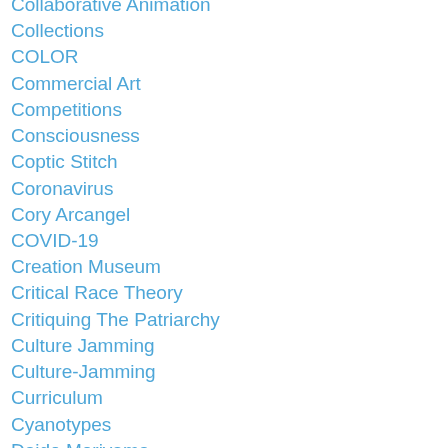Collaborative Animation
Collections
COLOR
Commercial Art
Competitions
Consciousness
Coptic Stitch
Coronavirus
Cory Arcangel
COVID-19
Creation Museum
Critical Race Theory
Critiquing The Patriarchy
Culture Jamming
Culture-Jamming
Curriculum
Cyanotypes
Daido Moriyama
Daisy Bell
Dan Barney
Dan Estabrook